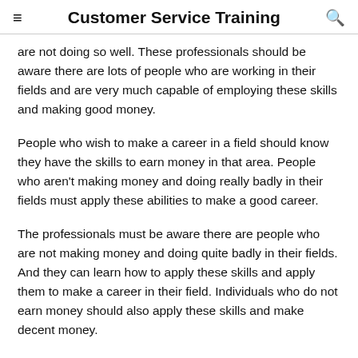Customer Service Training
are not doing so well. These professionals should be aware there are lots of people who are working in their fields and are very much capable of employing these skills and making good money.
People who wish to make a career in a field should know they have the skills to earn money in that area. People who aren't making money and doing really badly in their fields must apply these abilities to make a good career.
The professionals must be aware there are people who are not making money and doing quite badly in their fields. And they can learn how to apply these skills and apply them to make a career in their field. Individuals who do not earn money should also apply these skills and make decent money.